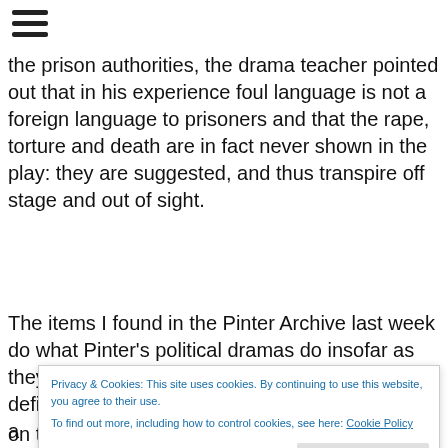[Figure (other): Hamburger menu icon (three horizontal lines)]
the prison authorities, the drama teacher pointed out that in his experience foul language is not a foreign language to prisoners and that the rape, torture and death are in fact never shown in the play: they are suggested, and thus transpire off stage and out of sight.
The items I found in the Pinter Archive last week do what Pinter's political dramas do insofar as they correct our understanding of a prison, defining that in a...
Privacy & Cookies: This site uses cookies. By continuing to use this website, you agree to their use.
To find out more, including how to control cookies, see here: Cookie Policy
Close and accept
on the outside. Pinter of course gestured to how